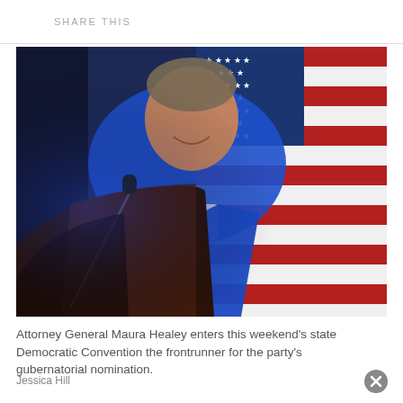SHARE THIS
[Figure (photo): Attorney General Maura Healey speaking at a podium wearing a blue blazer, with an American flag in the background.]
Attorney General Maura Healey enters this weekend's state Democratic Convention the frontrunner for the party's gubernatorial nomination.
Jessica Hill